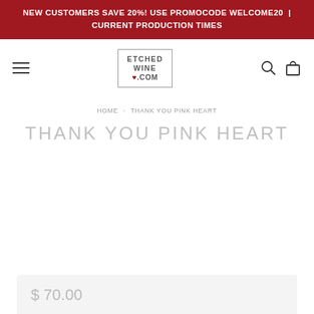NEW CUSTOMERS SAVE 20%! USE PROMOCODE WELCOME20 | CURRENT PRODUCTION TIMES
[Figure (logo): EtchedWine.com logo with heart symbol in a bordered box, plus hamburger menu, search icon, and shopping bag icon in navigation bar]
HOME > THANK YOU PINK HEART
THANK YOU PINK HEART
$ 70.00